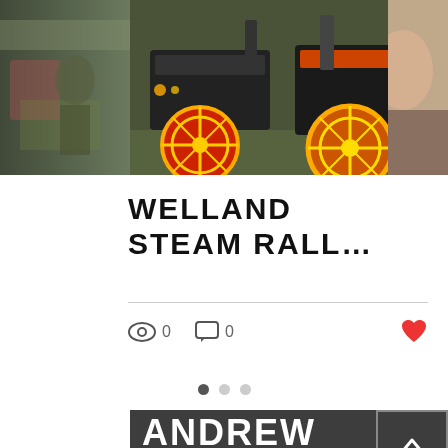[Figure (photo): Steam rally photo strip showing vintage traction engines with colorful wheels in red and yellow, a person standing between the machines at a rally event. Three panel composite: partial crowd scene on left, main center photo of steam engines, partial portrait on right.]
WELLAND STEAM RALL…
0 views  0 comments  like
[Figure (other): Pagination dots: three dots where first is filled dark and two are light gray]
ANDREW MURTAGH
© 2021 Andrew Murtagh